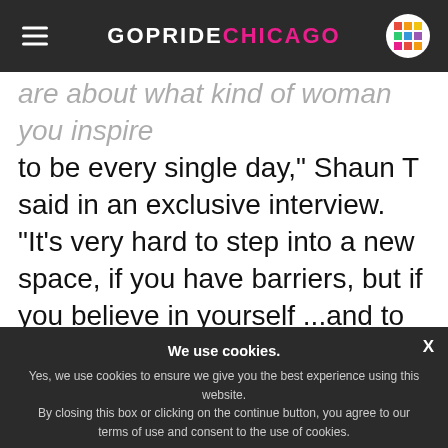GOPRIDE CHICAGO
are about what kind of woman you inspire to be every single day," Shaun T said in an exclusive interview. "It's very hard to step into a new space, if you have barriers, but if you believe in yourself ...and to believe in yourself, you have to accept yourself; and if you accept yourself, you can trust in your power...
We use cookies. Yes, we use cookies to ensure we give you the best experience using this website. By closing this box or clicking on the continue button, you agree to our terms of use and consent to the use of cookies.
Continue